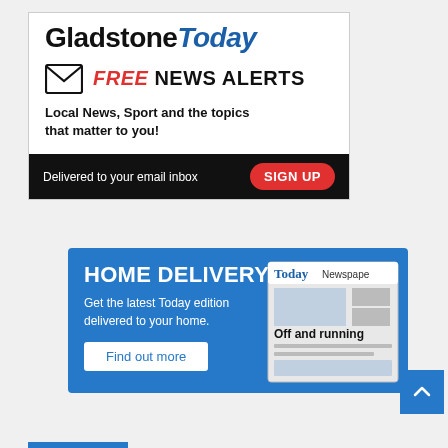GladstoneToday
FREE NEWS ALERTS
Local News, Sport and the topics that matter to you!
Delivered to your email inbox  SIGN UP
HOME DELIVERY
Get the latest Today edition delivered to your home.
Find out more
[Figure (illustration): Today Newspaper front page showing 'Off and running' headline]